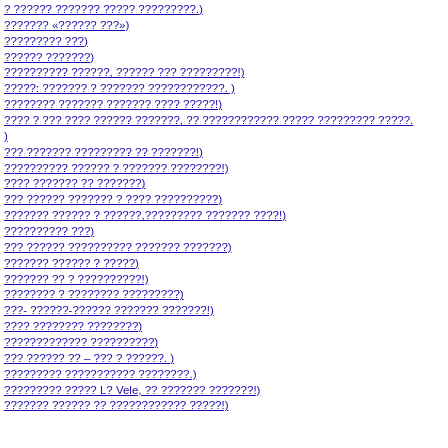? ?????? ??????? ????? ?????????.)
??????? «?????? ???»)
????????? ???)
?????? ???????)
?????????? ??????, ?????? ??? ?????????!)
?????: ??????? ? ??????? ????????????.  )
???????? ??????? ??????? ???? ?????!)
???? ? ??? ???? ?????? ???????, ?? ???????????? ????? ????????? ????.)
??? ??????? ????????? ?? ???????!)
?????????? ?????? ? ??????? ????????!)
???? ??????? ?? ???????)
??? ?????? ??????? ? ???? ??????????)
??????? ?????? ? ??????,????????? ??????? ????!)
?????????? ???)
??? ?????? ?????????? ??????? ???????)
??????? ?????? ? ?????)
??????? ?? ? ??????????!)
???????? ? ???????? ?????????)
???- ??????-?????? ??????? ???????!)
???? ???????? ????????)
????????????? ??????????)
??? ?????? ?? – ??? ? ??????.)
????????? ??????????? ????????.)
????????? ????? L? Vele, ?? ??????? ???????!)
??????? ?????? ?? ???????????? ?????!)